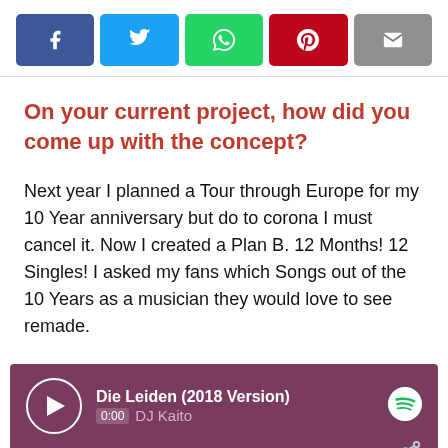[Figure (screenshot): Social media share buttons: Facebook (blue), Twitter (cyan), WhatsApp (green), Pinterest (red), Email (gray)]
On your current project, how did you come up with the concept?
Next year I planned a Tour through Europe for my 10 Year anniversary but do to corona I must cancel it. Now I created a Plan B. 12 Months! 12 Singles! I asked my fans which Songs out of the 10 Years as a musician they would love to see remade.
[Figure (screenshot): Spotify player widget showing 'Die Leiden (2018 Version)' by DJ Kaito, with play button, time 0:00, progress bar, share icon, and Spotify logo]